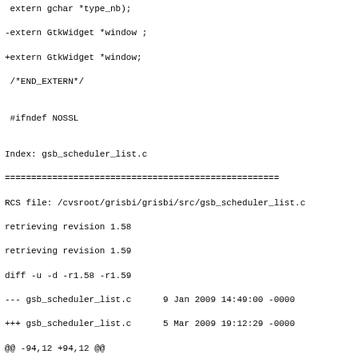Diff output showing changes to gsb_scheduler_list.c and related extern declarations in a C source file patch.